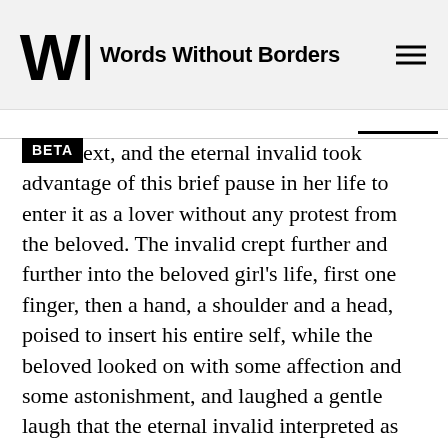Words Without Borders
ext, and the eternal invalid took advantage of this brief pause in her life to enter it as a lover without any protest from the beloved. The invalid crept further and further into the beloved girl's life, first one finger, then a hand, a shoulder and a head, poised to insert his entire self, while the beloved looked on with some affection and some astonishment, and laughed a gentle laugh that the eternal invalid interpreted as good-humored enjoyment at the sight of his curious yearning.
The beloved allowed the eternal invalid to circle around her for almost two months. He never